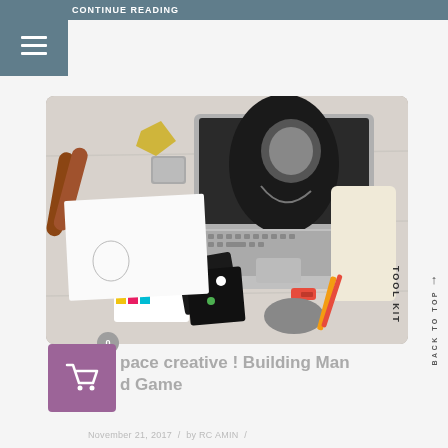Continue reading
[Figure (photo): Overhead flat-lay photo of a designer's workspace with a laptop displaying a sketch portrait, color swatches, art supplies, a Tool Kit pouch, pencils, and other creative tools on a light wood surface.]
0
pace creative ! Building Man
d Game
November 21, 2017  /  by RC AMIN  /